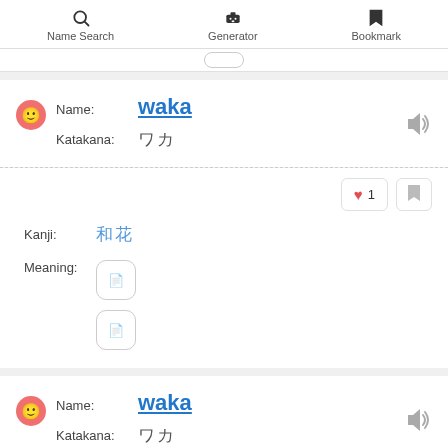Name Search  Generator  Bookmark
Name: waka
Katakana: ワカ
Kanji: 和花
Meaning: [icons]
Name: waka
Katakana: ワカ